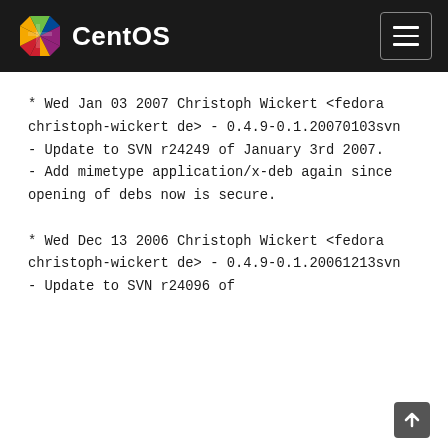CentOS
* Wed Jan 03 2007 Christoph Wickert <fedora christoph-wickert de> - 0.4.9-0.1.20070103svn
- Update to SVN r24249 of January 3rd 2007.
- Add mimetype application/x-deb again since opening of debs now is secure.
* Wed Dec 13 2006 Christoph Wickert <fedora christoph-wickert de> - 0.4.9-0.1.20061213svn
- Update to SVN r24096 of